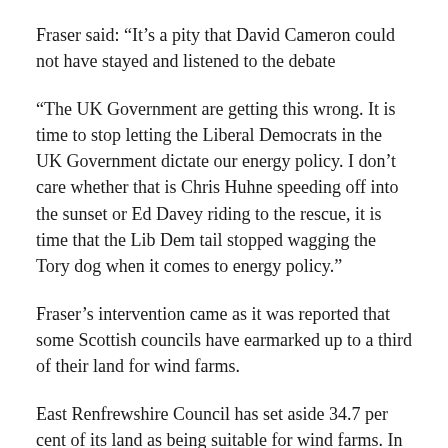Fraser said: “It’s a pity that David Cameron could not have stayed and listened to the debate
“The UK Government are getting this wrong. It is time to stop letting the Liberal Democrats in the UK Government dictate our energy policy. I don’t care whether that is Chris Huhne speeding off into the sunset or Ed Davey riding to the rescue, it is time that the Lib Dem tail stopped wagging the Tory dog when it comes to energy policy.”
Fraser’s intervention came as it was reported that some Scottish councils have earmarked up to a third of their land for wind farms.
East Renfrewshire Council has set aside 34.7 per cent of its land as being suitable for wind farms. In the Highlands, 30 per cent of land is up for grabs.
Recently the local authority body Heads of Planning Scotland warned of a “wind farm landscape” across